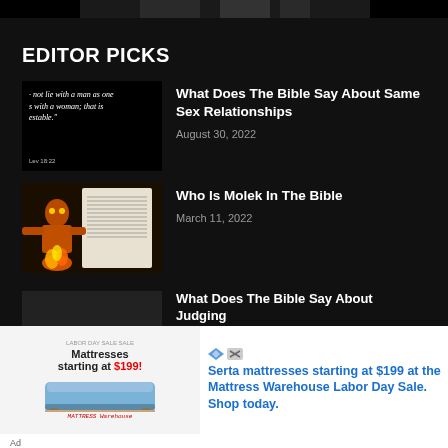[Figure (photo): Top image bar showing partial dark photo]
EDITOR PICKS
[Figure (photo): Bible verse quote image: 'not lie with a man as one with a woman; that is estable.' Lev 18:22]
What Does The Bible Say About Same Sex Relationships
August 30, 2022
[Figure (illustration): Illustration of Molek idol figure with fire]
Who Is Molek In The Bible
March 11, 2022
[Figure (photo): Partial article thumbnail for judging article]
What Does The Bible Say About Judging
[Figure (photo): Advertisement: Mattress Warehouse - Serta mattresses starting at $199 at the Mattress Warehouse Labor Day Sale. Shop today.]
Ad